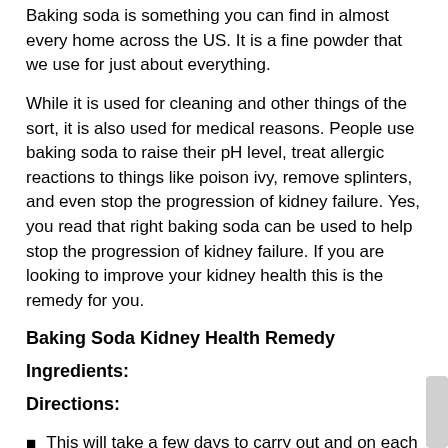Baking soda is something you can find in almost every home across the US. It is a fine powder that we use for just about everything.
While it is used for cleaning and other things of the sort, it is also used for medical reasons. People use baking soda to raise their pH level, treat allergic reactions to things like poison ivy, remove splinters, and even stop the progression of kidney failure. Yes, you read that right baking soda can be used to help stop the progression of kidney failure. If you are looking to improve your kidney health this is the remedy for you.
Baking Soda Kidney Health Remedy
Ingredients:
Directions:
This will take a few days to carry out and on each day things will be a little different so pay close attention.